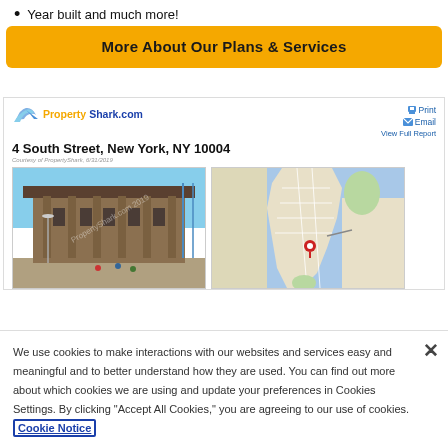Year built and much more!
More About Our Plans & Services
[Figure (screenshot): PropertyShark.com report header showing address 4 South Street, New York, NY 10004 with print/email/view full report links, a building photograph and a map showing location in lower Manhattan]
We use cookies to make interactions with our websites and services easy and meaningful and to better understand how they are used. You can find out more about which cookies we are using and update your preferences in Cookies Settings. By clicking “Accept All Cookies,” you are agreeing to our use of cookies. Cookie Notice